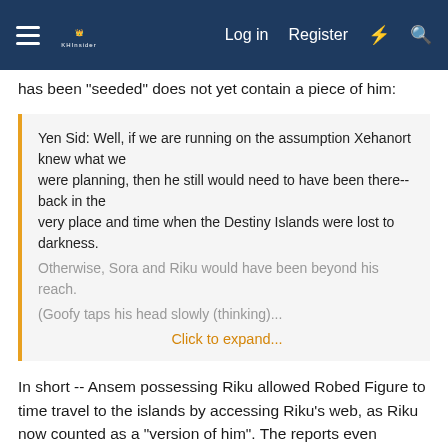Log in  Register
has been "seeded" does not yet contain a piece of him:
Yen Sid: Well, if we are running on the assumption Xehanort knew what we were planning, then he still would need to have been there--back in the very place and time when the Destiny Islands were lost to darkness. Otherwise, Sora and Riku would have been beyond his reach.
(Goofy taps his head slowly (thinking).
Click to expand...
In short -- Ansem possessing Riku allowed Robed Figure to time travel to the islands by accessing Riku's web, as Riku now counted as a "version of him". The reports even emphasize that this is possible not just because Ansem had no body, but specifically because he used this time to possess Riku.
So, if Sora is -ever- to become a vessel, Xehanort will have -